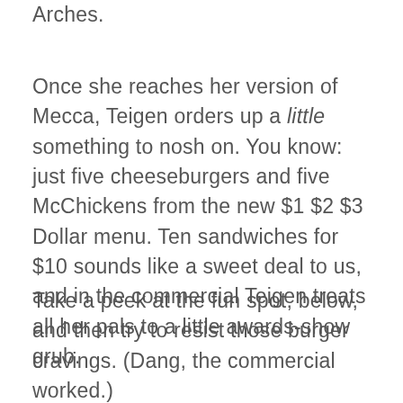Arches.
Once she reaches her version of Mecca, Teigen orders up a little something to nosh on. You know: just five cheeseburgers and five McChickens from the new $1 $2 $3 Dollar menu. Ten sandwiches for $10 sounds like a sweet deal to us, and in the commercial Teigen treats all her pals to a little awards-show grub.
Take a peek at the fun spot, below, and then try to resist those burger cravings. (Dang, the commercial worked.)